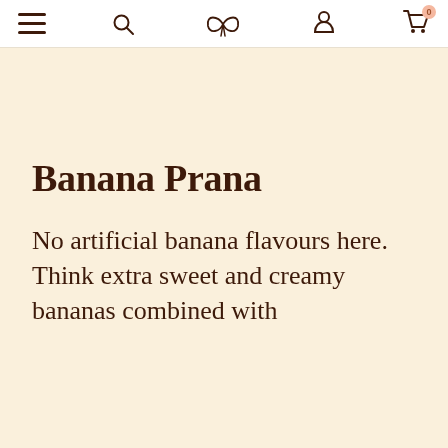Navigation bar with menu, search, logo, account, and cart icons
Banana Prana
No artificial banana flavours here. Think extra sweet and creamy bananas combined with